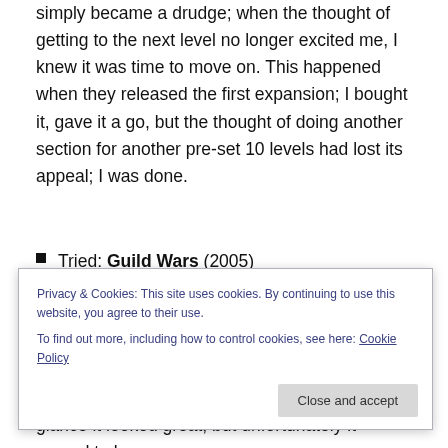simply became a drudge; when the thought of getting to the next level no longer excited me, I knew it was time to move on. This happened when they released the first expansion; I bought it, gave it a go, but the thought of doing another section for another pre-set 10 levels had lost its appeal; I was done.
Tried: Guild Wars (2005) Guild Wars took a very different approach to traditional MMOs, centring the action around small group 'instances' where you could group up with friends (or strangers) for short, violent little quests. While it was
Privacy & Cookies: This site uses cookies. By continuing to use this website, you agree to their use. To find out more, including how to control cookies, see here: Cookie Policy
glance it looked great; but unfortunately it proved to be